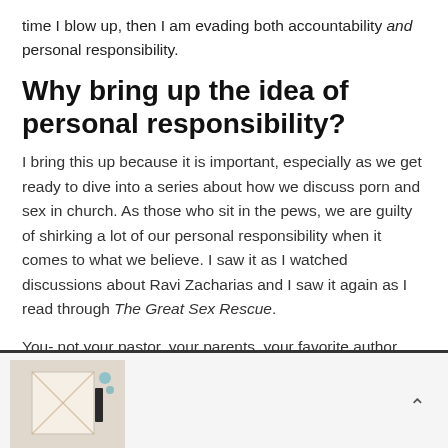time I blow up, then I am evading both accountability and personal responsibility.
Why bring up the idea of personal responsibility?
I bring this up because it is important, especially as we get ready to dive into a series about how we discuss porn and sex in church. As those who sit in the pews, we are guilty of shirking a lot of our personal responsibility when it comes to what we believe. I saw it as I watched discussions about Ravi Zacharias and I saw it again as I read through The Great Sex Rescue.
You- not your pastor, your parents, your favorite author, your husband, your bff- you alone are the gatekeeper to
[Figure (photo): Thumbnail image of a notebook with a pen and small items on a light colored surface]